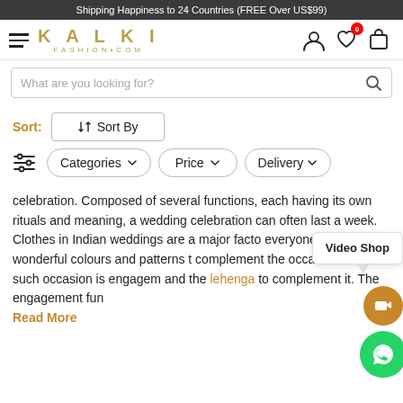Shipping Happiness to 24 Countries (FREE Over US$99)
[Figure (screenshot): Kalki Fashion website header with hamburger menu, KALKI FASHION•COM logo, user icon, wishlist icon with badge 0, and cart icon]
[Figure (screenshot): Search bar with placeholder 'What are you looking for?' and search icon]
[Figure (screenshot): Sort row with orange Sort label and Sort By button with arrows icon]
[Figure (screenshot): Filter row with filter icon, Categories pill, Price pill, Delivery pill]
celebration. Composed of several functions, each having its own rituals and meaning, a wedding celebration can often last a week. Clothes in Indian weddings are a major facto everyone looking at wonderful colours and patterns t complement the occasion. One such occasion is engagem and the lehenga to complement it. The engagement fun
Read More
[Figure (screenshot): Video Shop popup tooltip and floating video camera button (brown circle) and WhatsApp button (green circle)]